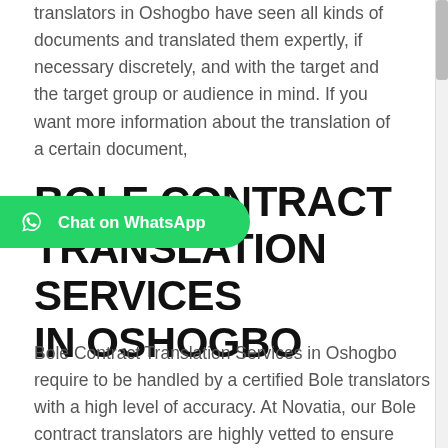translators in Oshogbo have seen all kinds of documents and translated them expertly, if necessary discretely, and with the target and the target group or audience in mind. If you want more information about the translation of a certain document,
BOLE CONTRACT TRANSLATION SERVICES IN OSHOGBO
Bole Contract Translation Services in Oshogbo require to be handled by a certified Bole translators with a high level of accuracy. At Novatia, our Bole contract translators are highly vetted to ensure they have the right experience and qualifications to handle contract